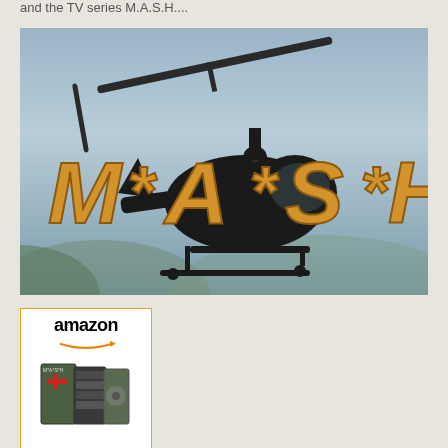and the TV series M.A.S.H....
[Figure (photo): MASH TV series title card showing a helicopter silhouette with the golden text 'M*A*S*H' against a blue-gray sky background]
[Figure (other): Amazon advertisement box with orange border showing the Amazon logo with arrow and a MASH DVD box set product image]